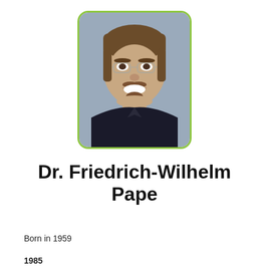[Figure (photo): Portrait photo of Dr. Friedrich-Wilhelm Pape, a middle-aged man with glasses, short brown hair, mustache and goatee, smiling, wearing a dark shirt. Photo has a green rounded border frame.]
Dr. Friedrich-Wilhelm Pape
Born in 1959
1985